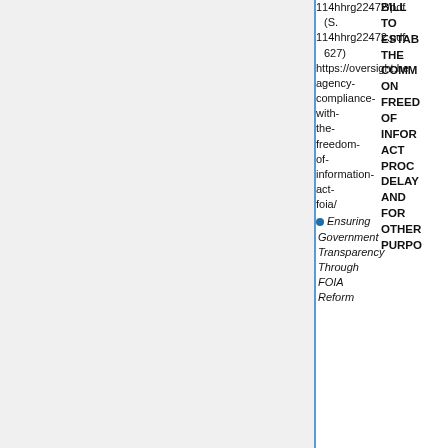114hhrg22472/pdf (S. 114hhrg22472.pdf 627) https://oversight.he agency- compliance- with- the- freedom- of- information- act- foia/
BILL TO ESTAB THE COMM ON FREED OF INFOR ACT PROC DELAY AND FOR OTHER PURPO
Ensuring Government Transparency Through FOIA Reform